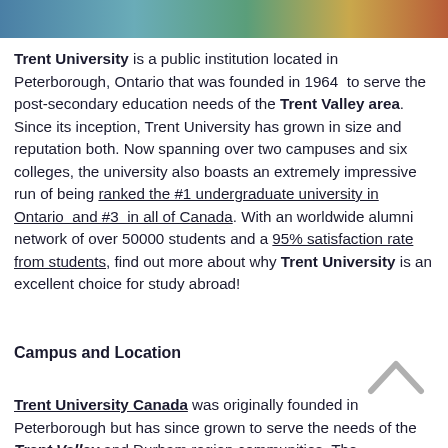[Figure (photo): Panoramic photo strip of Trent University campus showing water, greenery, and buildings]
Trent University is a public institution located in Peterborough, Ontario that was founded in 1964 to serve the post-secondary education needs of the Trent Valley area. Since its inception, Trent University has grown in size and reputation both. Now spanning over two campuses and six colleges, the university also boasts an extremely impressive run of being ranked the #1 undergraduate university in Ontario and #3 in all of Canada. With an worldwide alumni network of over 50000 students and a 95% satisfaction rate from students, find out more about why Trent University is an excellent choice for study abroad!
Campus and Location
Trent University Canada was originally founded in Peterborough but has since grown to serve the needs of the Trent Valley and Durham region communities. The